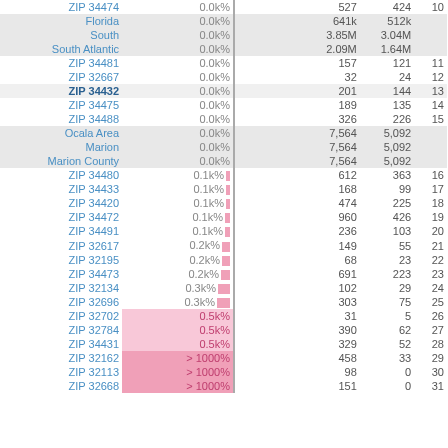| Name | Pct |  | V1 | V2 | Rank |
| --- | --- | --- | --- | --- | --- |
| ZIP 34474 | 0.0k% |  | 527 | 424 | 10 |
| Florida | 0.0k% |  | 641k | 512k |  |
| South | 0.0k% |  | 3.85M | 3.04M |  |
| South Atlantic | 0.0k% |  | 2.09M | 1.64M |  |
| ZIP 34481 | 0.0k% |  | 157 | 121 | 11 |
| ZIP 32667 | 0.0k% |  | 32 | 24 | 12 |
| ZIP 34432 | 0.0k% |  | 201 | 144 | 13 |
| ZIP 34475 | 0.0k% |  | 189 | 135 | 14 |
| ZIP 34488 | 0.0k% |  | 326 | 226 | 15 |
| Ocala Area | 0.0k% |  | 7,564 | 5,092 |  |
| Marion | 0.0k% |  | 7,564 | 5,092 |  |
| Marion County | 0.0k% |  | 7,564 | 5,092 |  |
| ZIP 34480 | 0.1k% |  | 612 | 363 | 16 |
| ZIP 34433 | 0.1k% |  | 168 | 99 | 17 |
| ZIP 34420 | 0.1k% |  | 474 | 225 | 18 |
| ZIP 34472 | 0.1k% |  | 960 | 426 | 19 |
| ZIP 34491 | 0.1k% |  | 236 | 103 | 20 |
| ZIP 32617 | 0.2k% |  | 149 | 55 | 21 |
| ZIP 32195 | 0.2k% |  | 68 | 23 | 22 |
| ZIP 34473 | 0.2k% |  | 691 | 223 | 23 |
| ZIP 32134 | 0.3k% |  | 102 | 29 | 24 |
| ZIP 32696 | 0.3k% |  | 303 | 75 | 25 |
| ZIP 32702 | 0.5k% |  | 31 | 5 | 26 |
| ZIP 32784 | 0.5k% |  | 390 | 62 | 27 |
| ZIP 34431 | 0.5k% |  | 329 | 52 | 28 |
| ZIP 32162 | > 1000% |  | 458 | 33 | 29 |
| ZIP 32113 | > 1000% |  | 98 | 0 | 30 |
| ZIP 32668 | > 1000% |  | 151 | 0 | 31 |